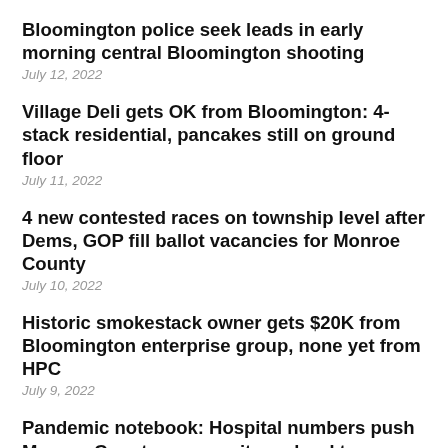Bloomington police seek leads in early morning central Bloomington shooting
July 12, 2022
Village Deli gets OK from Bloomington: 4-stack residential, pancakes still on ground floor
July 11, 2022
4 new contested races on township level after Dems, GOP fill ballot vacancies for Monroe County
July 10, 2022
Historic smokestack owner gets $20K from Bloomington enterprise group, none yet from HPC
July 9, 2022
Pandemic notebook: Hospital numbers push Monroe County community on hard to…